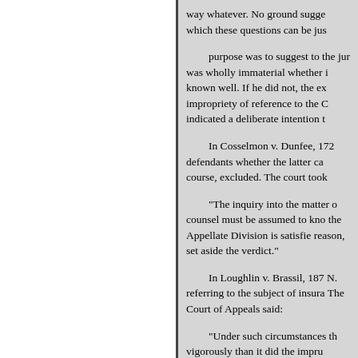way whatever. No ground sugge which these questions can be jus
purpose was to suggest to the jur was wholly immaterial whether i known well. If he did not, the ex impropriety of reference to the C indicated a deliberate intention t
In Cosselmon v. Dunfee, 172 defendants whether the latter ca course, excluded. The court took
"The inquiry into the matter o counsel must be assumed to kno the Appellate Division is satisfie reason, set aside the verdict."
In Loughlin v. Brassil, 187 N. referring to the subject of insura The Court of Appeals said:
"Under such circumstances th vigorously than it did the impru